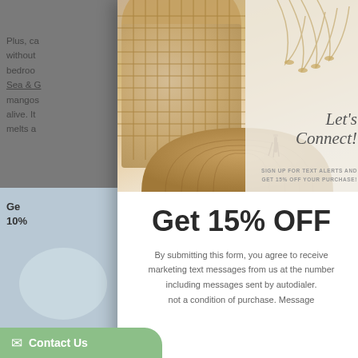Plus, ca... without... bedroom... The Sea & G... mango... more alive. It... e melts a...
Your se... of peach,
[Figure (photo): Promotional popup overlay showing woven rattan baskets and a clutch bag with tassel on a light background, with cursive text 'Let's Connect!' and subtext 'SIGN UP FOR TEXT ALERTS AND GET 15% OFF YOUR PURCHASE!']
Get 15% OFF
By submitting this form, you agree to receive marketing text messages from us at the number including messages sent by autodialer. not a condition of purchase. Message
Ge 10%
Contact Us